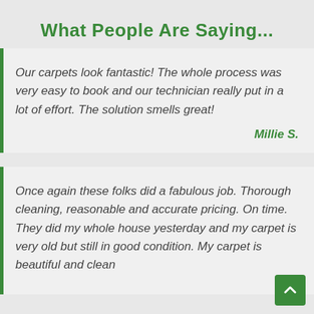What People Are Saying...
Our carpets look fantastic! The whole process was very easy to book and our technician really put in a lot of effort. The solution smells great!
Millie S.
Once again these folks did a fabulous job. Thorough cleaning, reasonable and accurate pricing. On time. They did my whole house yesterday and my carpet is very old but still in good condition. My carpet is beautiful and clean